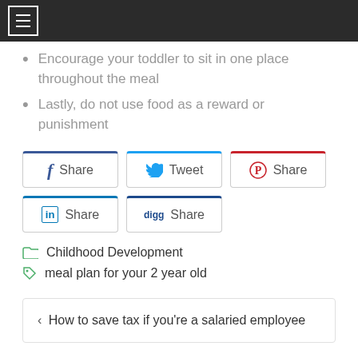[menu icon]
Encourage your toddler to sit in one place throughout the meal
Lastly, do not use food as a reward or punishment
[Figure (other): Social share buttons: Facebook Share, Twitter Tweet, Pinterest Share, LinkedIn Share, Digg Share]
Childhood Development
meal plan for your 2 year old
‹ How to save tax if you're a salaried employee